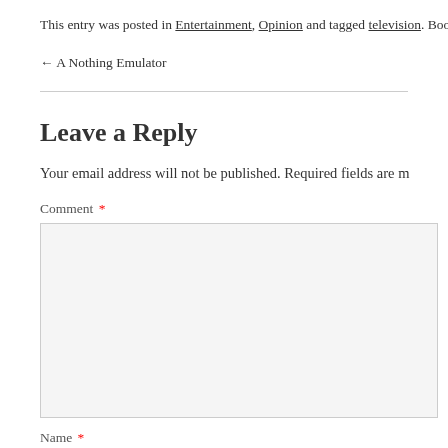This entry was posted in Entertainment, Opinion and tagged television. Booki
← A Nothing Emulator
Leave a Reply
Your email address will not be published. Required fields are m
Comment *
Name *